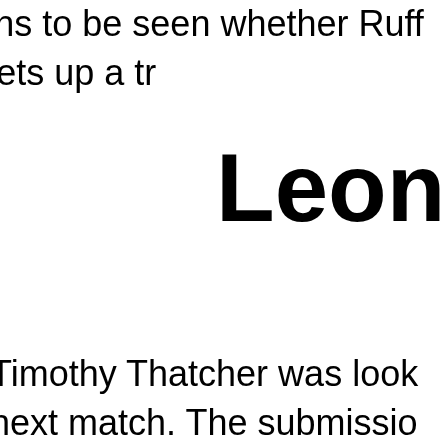some pain to the champ. It remains to be seen whether Ruff can weather the Storm or if this sets up a tr
Leon Ruff
Timothy Thatcher was look next match. The submissio North American champion
Ruff put him in a headlock before throwing him across playing with his opponent. Ciampa to watch the matc
The underdog tried to mou end of some painful strikes